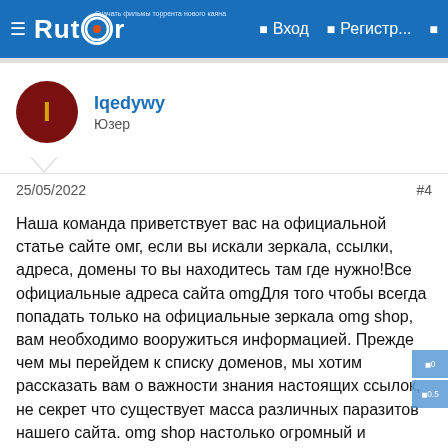Rutor | Вход | Регистр...
[Figure (logo): Rutor website logo with navigation bar showing Вход and Регистр... links]
Iqedywy
Юзер
25/05/2022   #4
Наша команда приветствует вас на официальной статье сайте омг, если вы искали зеркала, ссылки, адреса, домены то вы находитесь там где нужно!Все официальные адреса сайта omgДля того чтобы всегда попадать только на официальные зеркала omg shop, вам необходимо вооружиться информацией. Прежде чем мы перейдем к списку доменов, мы хотим рассказать вам о важности знания настоящих ссылок, не секрет что существует масса различных паразитов нашего сайта. omg shop настолько огромный и всеобъятный, что только ленивый не сделал на него фейк, поэтому будьте осторожны и всегда перепроверяйте адреса по которым вы переходите,